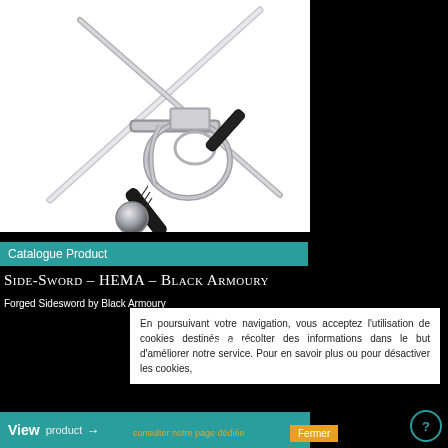[Figure (photo): Two crossed swords (side-swords / rapiers) with ornate swept-hilt guards, black leather grips, and a spherical pommel, shown against a white background.]
Catalogue Product
Side-Sword – HEMA – Black Armoury
Forged Sidesword by Black Armoury
£220.83
En poursuivant votre navigation, vous acceptez l'utilisation de cookies destinés a récolter des informations dans le but d'améliorer notre service. Pour en savoir plus ou pour désactiver les cookies,
View product →
consulter notre page dédiée
Fermer
?